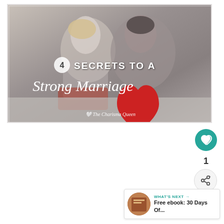[Figure (photo): A couple sitting closely on a bed, about to kiss, with text overlay reading '4 SECRETS TO A Strong Marriage' and a red heart graphic. Branded with 'The Charisma Queen' at the bottom.]
[Figure (illustration): Teal circular like/heart button with heart icon, showing count of 1]
1
[Figure (illustration): Share button with share icon (network/plus arrows)]
WHAT'S NEXT → Free ebook: 30 Days Of...